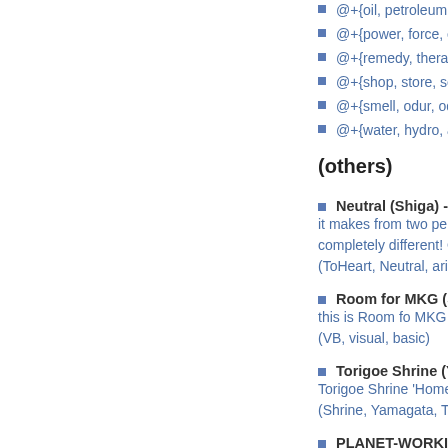@+{oil, petroleum, petrol, kerosene, gasoline, fue...
@+{power, force, energy} ...(33)
@+{remedy, therapeutic, therapy, healing, heal, cu...
@+{shop, store, seller, mart} ...(30)
@+{smell, odur, odor, fragrant, fragrance, aromati...
@+{water, hydro, aqua} ...(69)
(others)
Neutral (Shiga) - it makes from two persons -- a little -- the erotic GER completely different! One good now or Neutral! (ToHeart, Neutral, aries, kiss, devote, routes, one, ...
Room for MKG (Saitama) - this is Room fo MKG (VB, visual, basic)
Torigoe Shrine (Yamagata) - Torigoe Shrine 'HomePage (Shrine, Yamagata, Torigoe, Shinjyou)
PLANET-WORKING-WEB (Tokyo) - ASP (ASP)
basserslink&fieldreportbbs (Saitama) - bassfishingsite (bass, small, lure, fising, turi, large, keijiban, kawag okutamako, sagamiko, tukuiko, tannzawako, asinok usiku, innbanuma, takataki, kannako, saiko, shoijk...